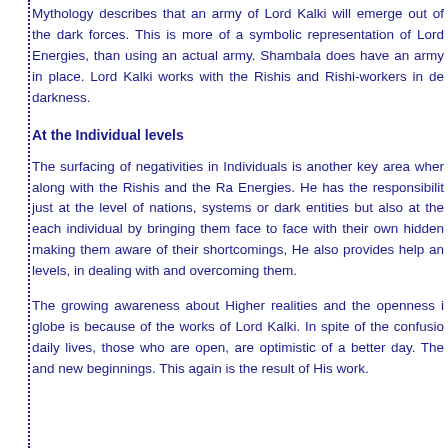Mythology describes that an army of Lord Kalki will emerge out of the dark forces. This is more of a symbolic representation of Lord Energies, than using an actual army. Shambala does have an army in place. Lord Kalki works with the Rishis and Rishi-workers in dealing darkness.
At the Individual levels
The surfacing of negativities in Individuals is another key area where along with the Rishis and the Ra Energies. He has the responsibility just at the level of nations, systems or dark entities but also at the each individual by bringing them face to face with their own hidden making them aware of their shortcomings, He also provides help and levels, in dealing with and overcoming them.
The growing awareness about Higher realities and the openness in globe is because of the works of Lord Kalki. In spite of the confusion daily lives, those who are open, are optimistic of a better day. They and new beginnings. This again is the result of His work.